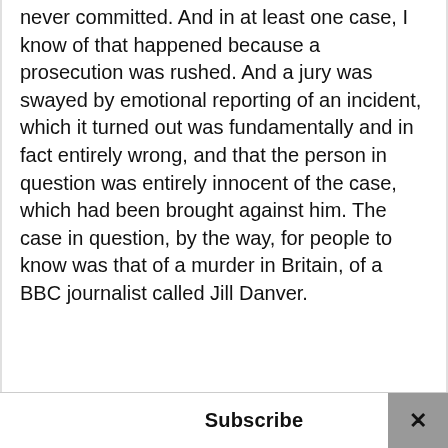never committed. And in at least one case, I know of that happened because a prosecution was rushed. And a jury was swayed by emotional reporting of an incident, which it turned out was fundamentally and in fact entirely wrong, and that the person in question was entirely innocent of the case, which had been brought against him. The case in question, by the way, for people to know was that of a murder in Britain, of a BBC journalist called Jill Danver.
Subscribe ×